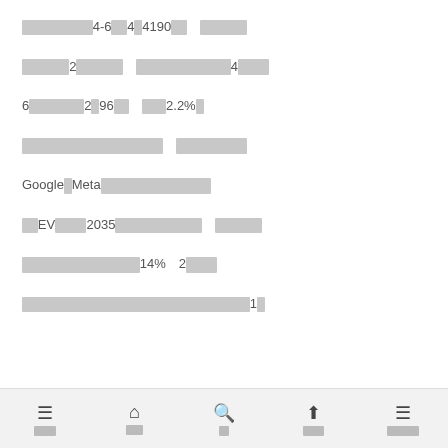■■■■■■■■■4-6■■4■4190■■　■■■■■■
■■■■■■2■■■■■■　■■■■■■■■■■■■4■■■■■
6■■■■■■■2■96■■■　■■■2.2%■
■■■■■■■■■■■■■■■■■■　■■■■■■■■■
Google■Meta■■■■■■■■■■■■■■■
■■EV■■■■2035■■■■■■■■■■■■　■■■■■■
■■■■■■■■■■■■■■■14%　2■■■■
■■■■■■■■■■■■■■■■■■■■■■■■■■■■■■■■■■■■1■
■■■■ ■■■ ■■ ■■■■ ■■■■■■